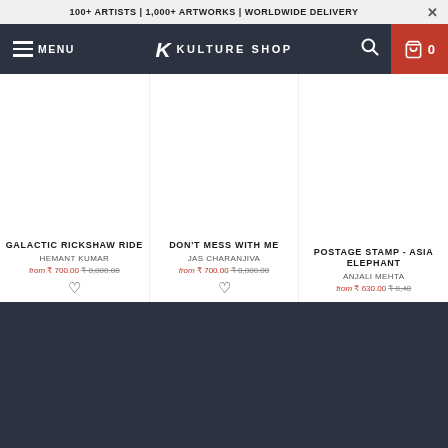100+ ARTISTS | 1,000+ ARTWORKS | WORLDWIDE DELIVERY
[Figure (screenshot): Kulture Shop navigation bar with menu, logo, search and cart icons]
GALACTIC RICKSHAW RIDE
HEMANT KUMAR
from ₹ 700.00 ₹ 8,800.00
DON'T MESS WITH ME
JAS CHARANJIVA
from ₹ 700.00 ₹ 8,800.00
POSTAGE STAMP - ASIAN ELEPHANT
ANJALI MEHTA
from ₹ 630.00 ₹ 8,400+